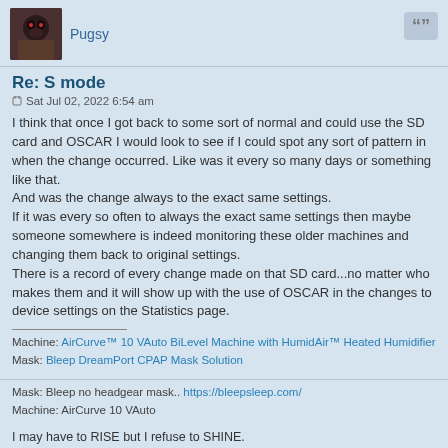Pugsy
Re: S mode
Sat Jul 02, 2022 6:54 am
I think that once I got back to some sort of normal and could use the SD card and OSCAR I would look to see if I could spot any sort of pattern in when the change occurred. Like was it every so many days or something like that.
And was the change always to the exact same settings.
If it was every so often to always the exact same settings then maybe someone somewhere is indeed monitoring these older machines and changing them back to original settings.
There is a record of every change made on that SD card...no matter who makes them and it will show up with the use of OSCAR in the changes to device settings on the Statistics page.
Machine: AirCurve™ 10 VAuto BiLevel Machine with HumidAir™ Heated Humidifier
Mask: Bleep DreamPort CPAP Mask Solution
Mask: Bleep no headgear mask.. https://bleepsleep.com/
Machine: AirCurve 10 VAuto
I may have to RISE but I refuse to SHINE.